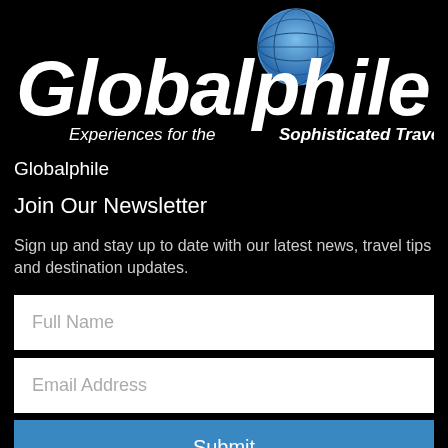[Figure (logo): Globalphile logo with globe icon and italic white text 'Globalphile' with tagline 'Experiences for the Sophisticated Traveler']
Globalphile
Join Our Newsletter
Sign up and stay up to date with our latest news, travel tips and destination updates.
Full Name
Email Address
Submit